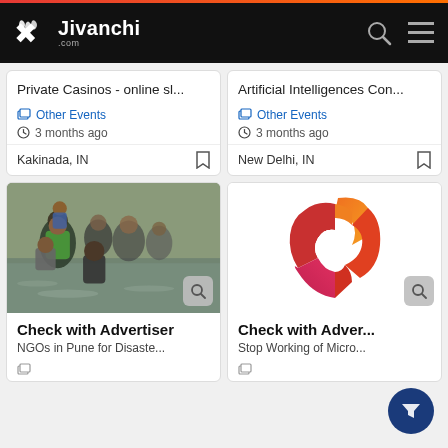Jivanchi.com
Private Casinos - online sl...
Other Events
3 months ago
Kakinada, IN
Artificial Intelligences Con...
Other Events
3 months ago
New Delhi, IN
[Figure (photo): People wading through flood water, some carrying children]
Check with Advertiser
NGOs in Pune for Disaste...
[Figure (logo): Microsoft Office logo - red/orange angular bracket shape]
Check with Adver...
Stop Working of Micro...